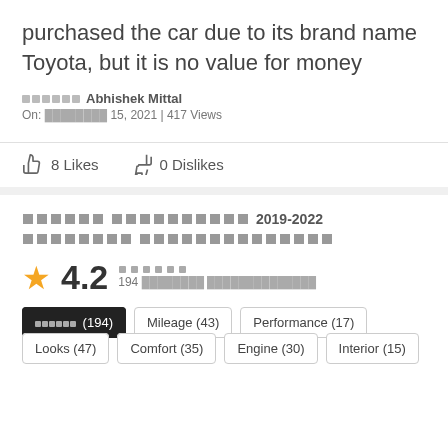purchased the car due to its brand name Toyota, but it is no value for money
██████ Abhishek Mittal
On: ████████ 15, 2021 | 417 Views
8 Likes   0 Dislikes
██████ ████████████ 2019-2022 ████████ ██████████████
★ 4.2  ██████  194 ████████ ██████████████
██████ (194)
Mileage (43)
Performance (17)
Looks (47)
Comfort (35)
Engine (30)
Interior (15)